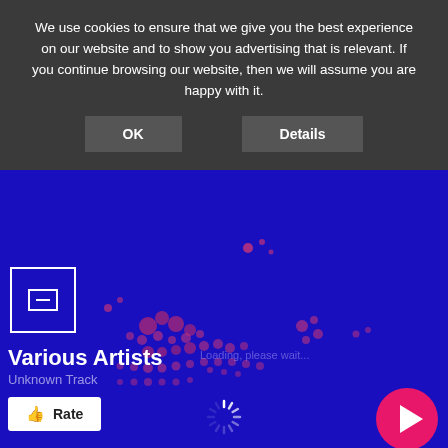We use cookies to ensure that we give you the best experience on our website and to show you advertising that is relevant. If you continue browsing our website, then we will assume you are happy with it.
OK
Details
[Figure (other): Dark blue background with scattered pink/magenta dots forming a loose map-like pattern. A white-bordered square album art placeholder icon is visible in the lower left.]
Various Artists
Unknown Track
Rate
[Figure (other): Loading spinner icon (white spokes radiating from center)]
[Figure (other): Pink circular play button with white triangle pointing right]